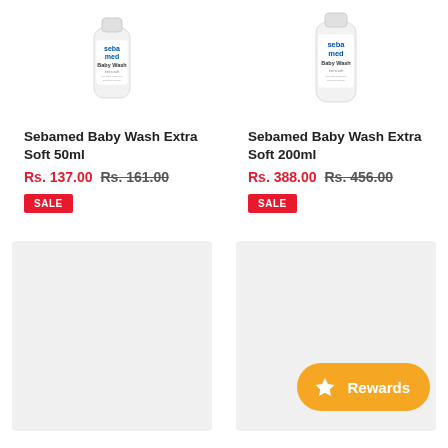[Figure (photo): Sebamed Baby Wash Extra Soft 50ml product bottle image]
[Figure (photo): Sebamed Baby Wash Extra Soft 200ml product bottle image]
Sebamed Baby Wash Extra Soft 50ml
Rs. 137.00  Rs. 161.00
SALE
Sebamed Baby Wash Extra Soft 200ml
Rs. 388.00  Rs. 456.00
SALE
[Figure (other): Empty placeholder product image area (light grey)]
[Figure (other): Empty placeholder product image area (light grey) with Rewards button overlay]
Rewards